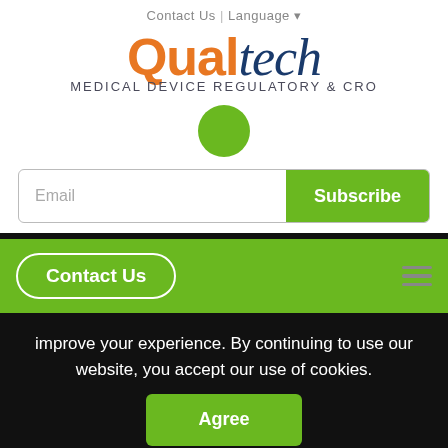Contact Us  |  Language
[Figure (logo): Qualtech Medical Device Regulatory & CRO logo. QUAL in orange bold, tech in dark blue italic, subtitle Medical Device Regulatory & CRO]
[Figure (other): Green filled circle / dot]
Email
Subscribe
Contact Us
improve your experience. By continuing to use our website, you accept our use of cookies.
Agree